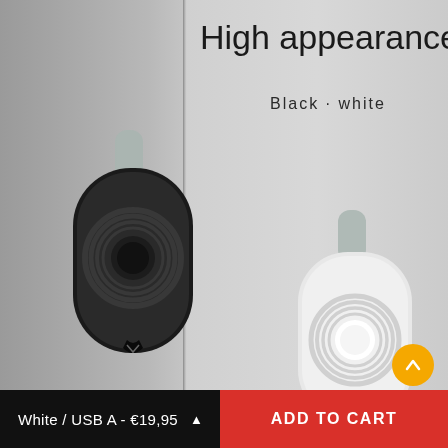[Figure (photo): Product photo showing two portable Apple Watch charger/power bank devices — one black and one white — hanging on a wall with light grey loop straps. The image has a grey background with a wall corner dividing light and slightly darker surfaces.]
High appearance
Black · white
White / USB A - €19,95  ↑
ADD TO CART